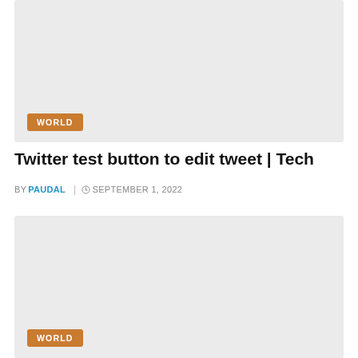[Figure (photo): Gray placeholder image card with a WORLD badge in the lower-left corner]
Twitter test button to edit tweet | Tech
BY PAUDAL  © SEPTEMBER 1, 2022
[Figure (photo): Gray placeholder image card with a WORLD badge in the lower-left corner]